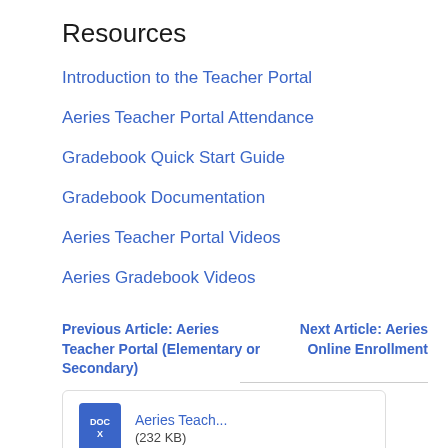Resources
Introduction to the Teacher Portal
Aeries Teacher Portal Attendance
Gradebook Quick Start Guide
Gradebook Documentation
Aeries Teacher Portal Videos
Aeries Gradebook Videos
Previous Article: Aeries Teacher Portal (Elementary or Secondary)
Next Article: Aeries Online Enrollment
Aeries Teach... (232 KB)